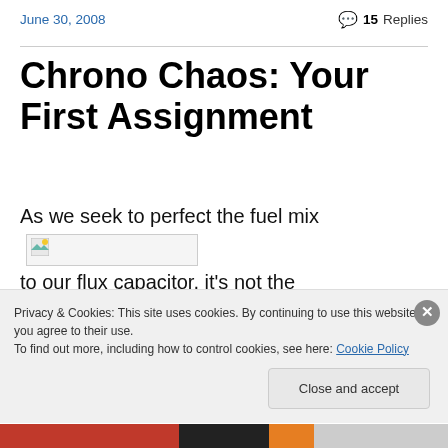June 30, 2008
💬 15 Replies
Chrono Chaos: Your First Assignment
As we seek to perfect the fuel mix [image] to our flux capacitor, it's not the time for Chrono Chaos — the most swooomist pretend time
Privacy & Cookies: This site uses cookies. By continuing to use this website, you agree to their use. To find out more, including how to control cookies, see here: Cookie Policy
Close and accept